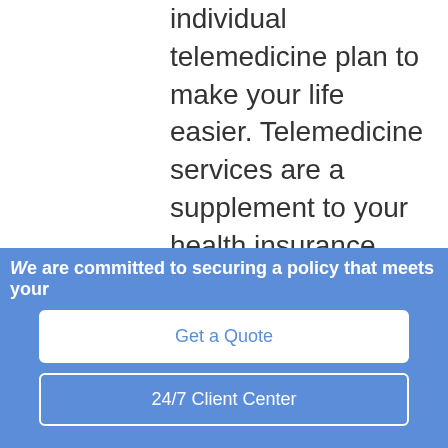individual telemedicine plan to make your life easier. Telemedicine services are a supplement to your health insurance policy to make your health care more accessible, convenient, and affordable. With an individual telemedicine plan, you can get the health care you need whenever and wherever; it's that easy.
We are committed to securing a policy that meets your
Get a Quote
24/7 Client Center